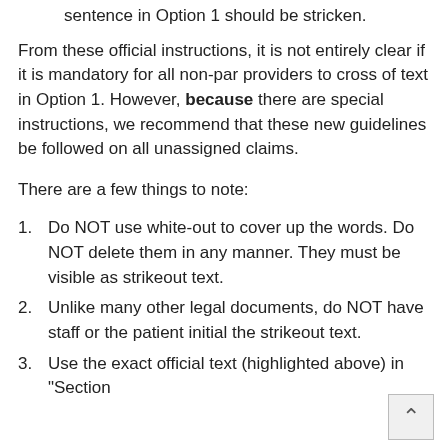included in the 'Additional Information' section, the last sentence in Option 1 should be stricken.
From these official instructions, it is not entirely clear if it is mandatory for all non-par providers to cross of text in Option 1. However, because there are special instructions, we recommend that these new guidelines be followed on all unassigned claims.
There are a few things to note:
Do NOT use white-out to cover up the words. Do NOT delete them in any manner. They must be visible as strikeout text.
Unlike many other legal documents, do NOT have staff or the patient initial the strikeout text.
Use the exact official text (highlighted above) in "Section